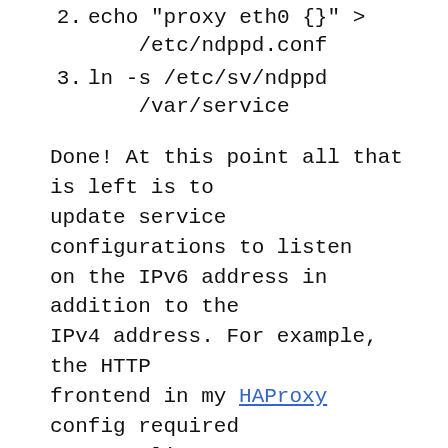2. echo "proxy eth0 {}" > /etc/ndppd.conf
3. ln -s /etc/sv/ndppd /var/service
Done! At this point all that is left is to update service configurations to listen on the IPv6 address in addition to the IPv4 address. For example, the HTTP frontend in my HAProxy config required one new line:
frontend proxy
    bind 45.63.16.142:80
    bind 2001:19f0:5:23de:5400:ff:fe1e:54e2
    use_backend default-server